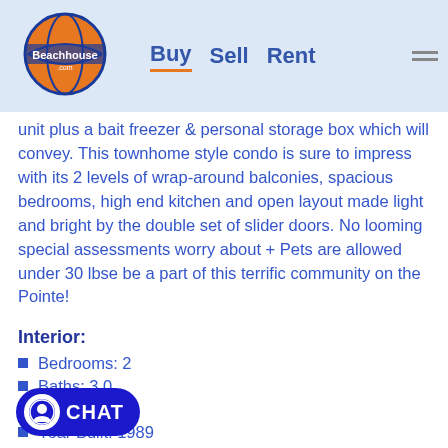Beachhouse.com — Buy | Sell | Rent
unit plus a bait freezer & personal storage box which will convey. This townhome style condo is sure to impress with its 2 levels of wrap-around balconies, spacious bedrooms, high end kitchen and open layout made light and bright by the double set of slider doors. No looming special assessments worry about + Pets are allowed under 30 lbse be a part of this terrific community on the Pointe!
Interior:
Bedrooms: 2
Baths: 3.0
Sq Ft: 1352
Year Built: 1989
es:
Fireplaces: